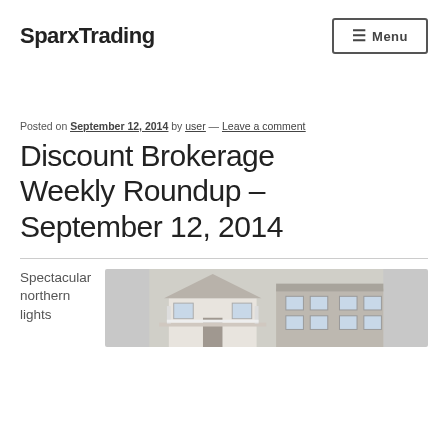SparxTrading
Posted on September 12, 2014 by user — Leave a comment
Discount Brokerage Weekly Roundup – September 12, 2014
Spectacular northern lights
[Figure (photo): Photo of a house with a porch and white railings]